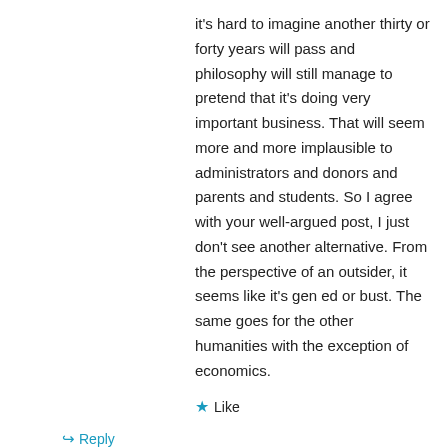it's hard to imagine another thirty or forty years will pass and philosophy will still manage to pretend that it's doing very important business. That will seem more and more implausible to administrators and donors and parents and students. So I agree with your well-argued post, I just don't see another alternative. From the perspective of an outsider, it seems like it's gen ed or bust. The same goes for the other humanities with the exception of economics.
★ Like
↳ Reply
Huenemann on August 20, 2014 at 9:15 am
Perceptive points, i. You're right that "audience"